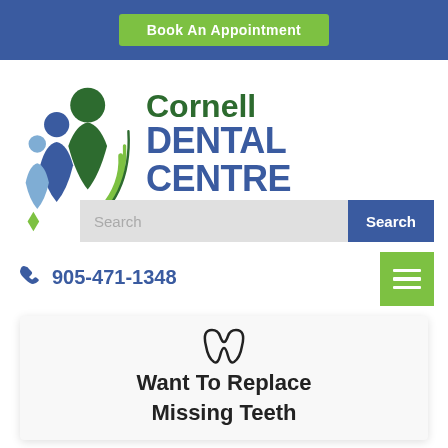Book An Appointment
[Figure (logo): Cornell Dental Centre logo with stylized human figures in blue and green colors alongside the text Cornell DENTAL CENTRE]
Search
905-471-1348
Want To Replace Missing Teeth